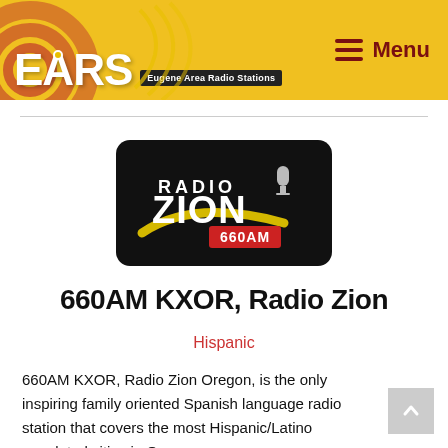EARS — Eugene Area Radio Stations | Menu
[Figure (logo): Radio Zion 660AM logo — black rounded rectangle background with 'RADIO ZION' text, a microphone graphic, yellow swoosh, and red '660AM' badge]
660AM KXOR, Radio Zion
Hispanic
660AM KXOR, Radio Zion Oregon, is the only inspiring family oriented Spanish language radio station that covers the most Hispanic/Latino populated cities in Oregon.